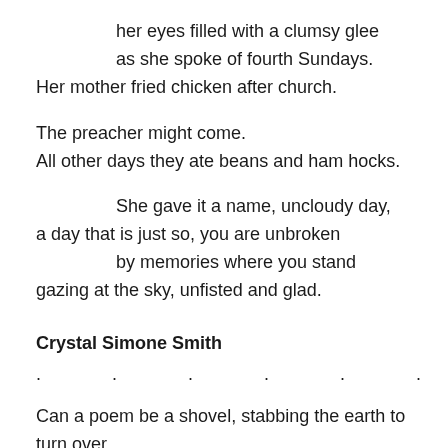her eyes filled with a clumsy glee
as she spoke of fourth Sundays.
Her mother fried chicken after church.
The preacher might come.
All other days they ate beans and ham hocks.
She gave it a name, uncloudy day,
a day that is just so, you are unbroken
by memories where you stand
gazing at the sky, unfisted and glad.
Crystal Simone Smith
. · · · · · ·
Can a poem be a shovel, stabbing the earth to turn over
what's hidden and dark, to bring up a spadeful that smells